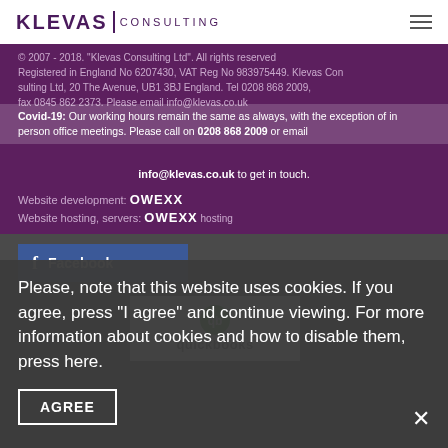KLEVAS | CONSULTING
© 2007 - 2018. "Klevas Consulting Ltd". All rights reserved. Registered in England No 6207430, VAT Reg No 983975449. Klevas Consulting Ltd, 20 The Avenue, UB1 3BJ England. Tel 0208 868 2009, fax 0845 862 2373. Please email info@klevas.co.uk
Covid-19: Our working hours remain the same as always, with the exception of in person office meetings. Please call on 0208 868 2009 or email info@klevas.co.uk to get in touch.
Website development: OWEXX
Website hosting, servers: OWEXX hosting
Facebook
[Figure (logo): QuickBooks logo with green circle icon and quickbooks wordmark]
Please, note that this website uses cookies. If you agree, press "I agree" and continue viewing. For more information about cookies and how to disable them, press here.
AGREE